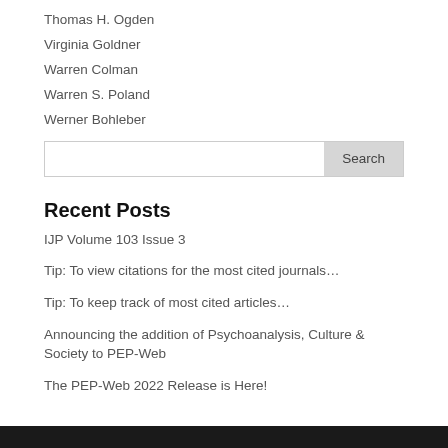Thomas H. Ogden
Virginia Goldner
Warren Colman
Warren S. Poland
Werner Bohleber
Recent Posts
IJP Volume 103 Issue 3
Tip: To view citations for the most cited journals…
Tip: To keep track of most cited articles…
Announcing the addition of Psychoanalysis, Culture & Society to PEP-Web
The PEP-Web 2022 Release is Here!